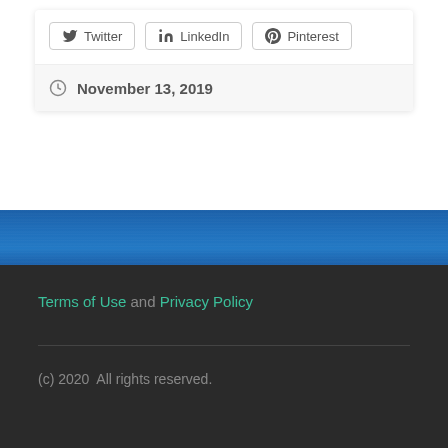Twitter  LinkedIn  Pinterest
November 13, 2019
Terms of Use and Privacy Policy
(c) 2020  All rights reserved.